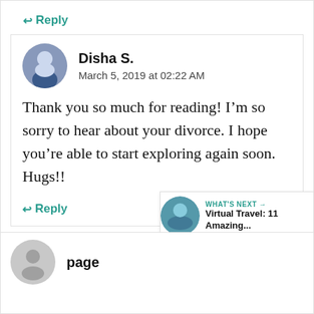↩ Reply
[Figure (photo): Circular avatar photo of Disha S.]
Disha S.
March 5, 2019 at 02:22 AM
Thank you so much for reading! I'm so sorry to hear about your divorce. I hope you're able to start exploring again soon. Hugs!!
↩ Reply
[Figure (photo): Circular gray default avatar]
page
WHAT'S NEXT → Virtual Travel: 11 Amazing...